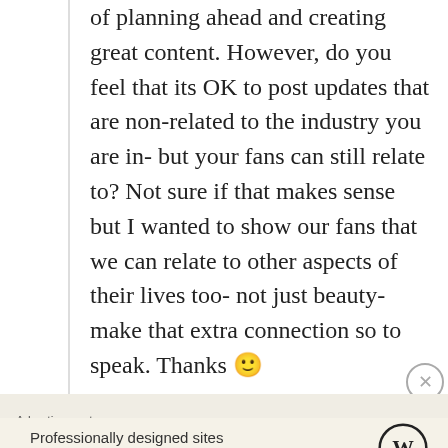of planning ahead and creating great content. However, do you feel that its OK to post updates that are non-related to the industry you are in- but your fans can still relate to? Not sure if that makes sense but I wanted to show our fans that we can relate to other aspects of their lives too- not just beauty- make that extra connection so to speak. Thanks 🙂
★ Like
↪ Reply
Advertisements
Professionally designed sites in less than a week